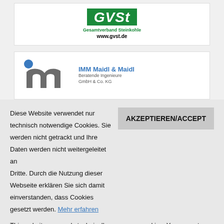[Figure (logo): GVSt Gesamtverband Steinkohle logo with green background and website www.gvst.de]
[Figure (logo): IMM Maidl & Maidl Beratende Ingenieure GmbH & Co. KG logo with stylized m letterform in gray and blue dot]
Diese Website verwendet nur technisch notwendige Cookies. Sie werden nicht getrackt und Ihre Daten werden nicht weitergeleitet an Dritte. Durch die Nutzung dieser Webseite erklären Sie sich damit einverstanden, dass Cookies gesetzt werden. Mehr erfahren
This website uses only technically necessary cookies. You are not tracked and your data are not passed on to third parties. By using this website, you consent to the use of cookies.